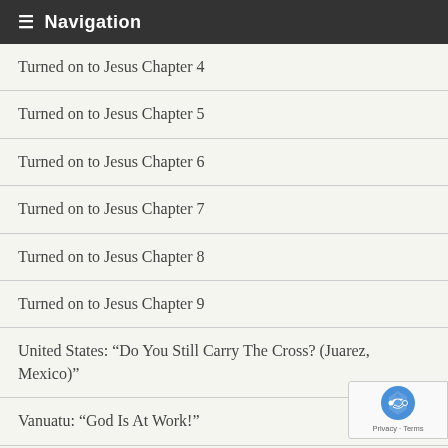Navigation
Turned on to Jesus Chapter 4
Turned on to Jesus Chapter 5
Turned on to Jesus Chapter 6
Turned on to Jesus Chapter 7
Turned on to Jesus Chapter 8
Turned on to Jesus Chapter 9
United States: “Do You Still Carry The Cross? (Juarez, Mexico)”
Vanuatu: “God Is At Work!”
Wallis and Futuna: “Gifts of Love”